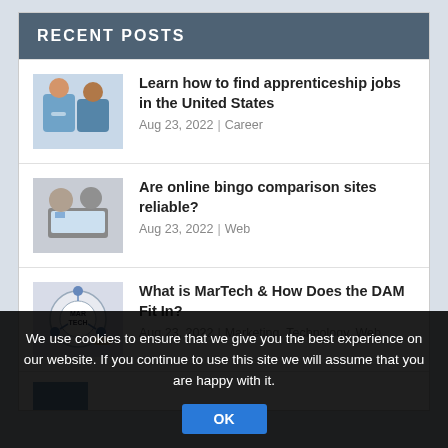RECENT POSTS
Learn how to find apprenticeship jobs in the United States
Aug 23, 2022 | Career
Are online bingo comparison sites reliable?
Aug 23, 2022 | Web
What is MarTech & How Does the DAM Fit In?
Aug 23, 2022 | Marketing, Technology, Web
We use cookies to ensure that we give you the best experience on our website. If you continue to use this site we will assume that you are happy with it.